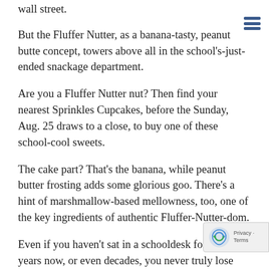wall street.
But the Fluffer Nutter, as a banana-tasty, peanut butte concept, towers above all in the school's-just-ended snackage department.
Are you a Fluffer Nutter nut? Then find your nearest Sprinkles Cupcakes, before the Sunday, Aug. 25 draws to a close, to buy one of these school-cool sweets.
The cake part? That's the banana, while peanut butter frosting adds some glorious goo. There's a hint of marshmallow-based mellowness, too, one of the key ingredients of authentic Fluffer-Nutter-dom.
Even if you haven't sat in a schooldesk for some years now, or even decades, you never truly lose your lo of the afterschool nibble. And Fluffer Nutter, in all of appetite-pleasing forms, continues to rule the afterschool…